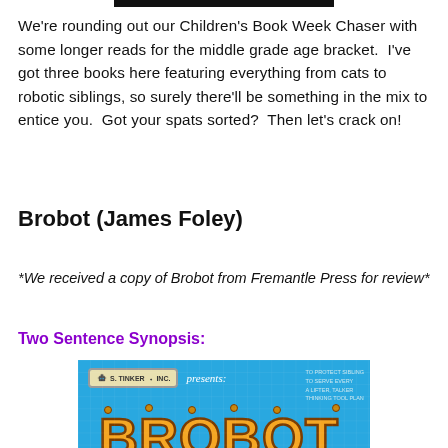We're rounding out our Children's Book Week Chaser with some longer reads for the middle grade age bracket.  I've got three books here featuring everything from cats to robotic siblings, so surely there'll be something in the mix to entice you.  Got your spats sorted?  Then let's crack on!
Brobot (James Foley)
*We received a copy of Brobot from Fremantle Press for review*
Two Sentence Synopsis:
[Figure (illustration): Book cover of Brobot by James Foley. Blue background with blueprint grid lines. Top left shows a badge reading 'S. TINKER INC.' with a robot icon, followed by cursive 'presents:'. Right side has small blueprint-style text. Large orange bolted letters spelling 'BROBOT' fill the lower portion.]